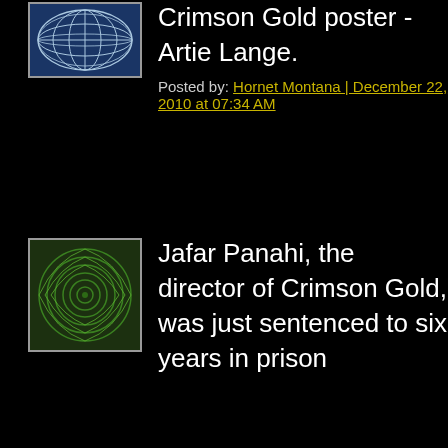[Figure (photo): Small blue globe/world map avatar icon]
Crimson Gold poster - Artie Lange.
Posted by: Hornet Montana | December 22, 2010 at 07:34 AM
[Figure (illustration): Green spiral pattern avatar icon]
Jafar Panahi, the director of Crimson Gold, was just sentenced to six years in prison